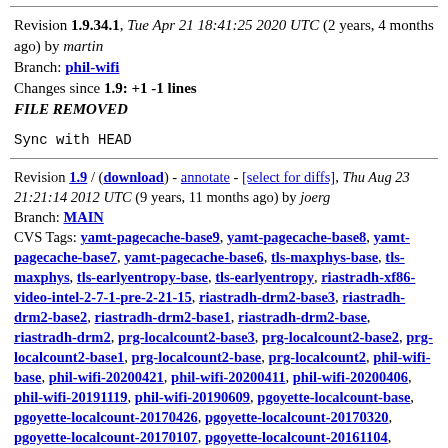Revision 1.9.34.1, Tue Apr 21 18:41:25 2020 UTC (2 years, 4 months ago) by martin
Branch: phil-wifi
Changes since 1.9: +1 -1 lines
FILE REMOVED
Sync with HEAD
Revision 1.9 / (download) - annotate - [select for diffs], Thu Aug 23 21:21:14 2012 UTC (9 years, 11 months ago) by joerg
Branch: MAIN
CVS Tags: yamt-pagecache-base9, yamt-pagecache-base8, yamt-pagecache-base7, yamt-pagecache-base6, tls-maxphys-base, tls-maxphys, tls-earlyentropy-base, tls-earlyentropy, riastradh-xf86-video-intel-2-7-1-pre-2-21-15, riastradh-drm2-base3, riastradh-drm2-base2, riastradh-drm2-base1, riastradh-drm2-base, riastradh-drm2, prg-localcount2-base3, prg-localcount2-base2, prg-localcount2-base1, prg-localcount2-base, prg-localcount2, phil-wifi-base, phil-wifi-20200421, phil-wifi-20200411, phil-wifi-20200406, phil-wifi-20191119, phil-wifi-20190609, pgoyette-localcount-base, pgoyette-localcount-20170426, pgoyette-localcount-20170320, pgoyette-localcount-20170107, pgoyette-localcount-20161104, pgoyette-localcount-20160806, pgoyette-localcount-20160726, pgoyette-localcount-